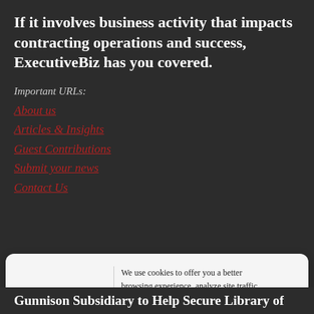If it involves business activity that impacts contracting operations and success, ExecutiveBiz has you covered.
Important URLs:
About us
Articles & Insights
Guest Contributions
Submit your news
Contact Us
[Figure (logo): ExecutiveBiz logo with tagline 'We Connect Executives']
We use cookies to offer you a better browsing experience, analyze site traffic, personalize content, and serve targeted advertisements. Read about how we use cookies and how you can control them on our Privacy Policy. If you continue to use this site, you consent to our use of cookies.
Gunnison Subsidiary to Help Secure Library of